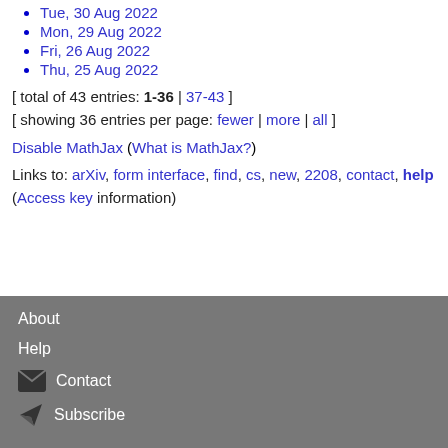Tue, 30 Aug 2022
Mon, 29 Aug 2022
Fri, 26 Aug 2022
Thu, 25 Aug 2022
[ total of 43 entries: 1-36 | 37-43 ] [ showing 36 entries per page: fewer | more | all ]
Disable MathJax (What is MathJax?)
Links to: arXiv, form interface, find, cs, new, 2208, contact, help (Access key information)
About Help Contact Subscribe